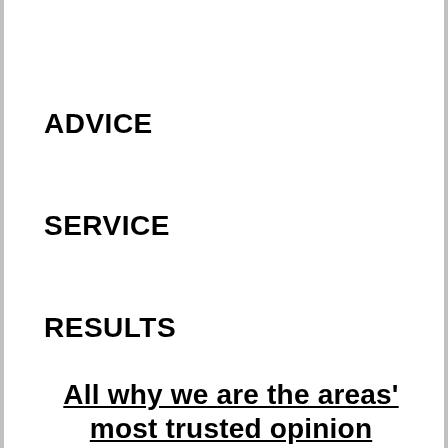ADVICE
SERVICE
RESULTS
All why we are the areas' most trusted opinion